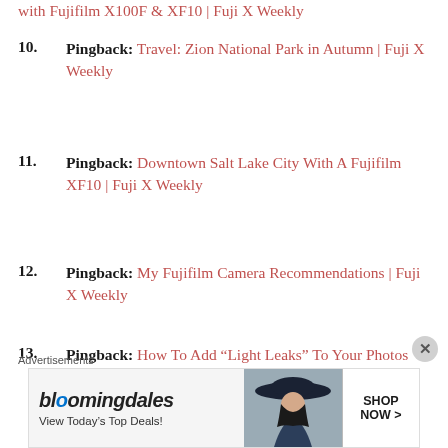Pingback: with Fujifilm X100F & XF10 | Fuji X Weekly
Pingback: Travel: Zion National Park in Autumn | Fuji X Weekly
Pingback: Downtown Salt Lake City With A Fujifilm XF10 | Fuji X Weekly
Pingback: My Fujifilm Camera Recommendations | Fuji X Weekly
Pingback: How To Add “Light Leaks” To Your Photos Using Page Markers | Fuji X Weekly
Advertisements
[Figure (other): Bloomingdale's advertisement banner: 'View Today’s Top Deals!' with a woman in a wide-brim hat and SHOP NOW > button]